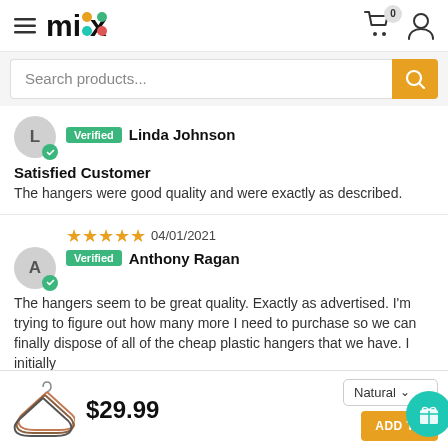mix — Search products...
Verified  Linda Johnson
Satisfied Customer
The hangers were good quality and were exactly as described.
★★★★★ 04/01/2021  Verified  Anthony Ragan
The hangers seem to be great quality. Exactly as advertised. I'm trying to figure out how many more I need to purchase so we can finally dispose of all of the cheap plastic hangers that we have. I initially
$29.99  Natural ∨  ADD TO